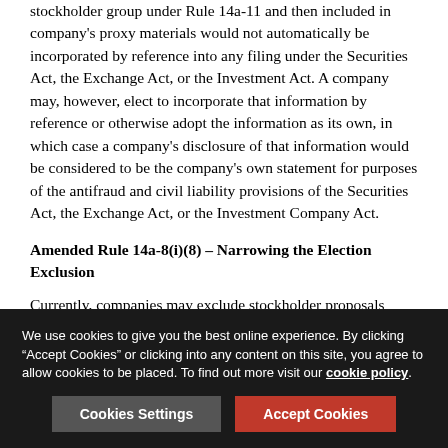stockholder group under Rule 14a-11 and then included in company's proxy materials would not automatically be incorporated by reference into any filing under the Securities Act, the Exchange Act, or the Investment Act. A company may, however, elect to incorporate that information by reference or otherwise adopt the information as its own, in which case a company's disclosure of that information would be considered to be the company's own statement for purposes of the antifraud and civil liability provisions of the Securities Act, the Exchange Act, or the Investment Company Act.
Amended Rule 14a-8(i)(8) – Narrowing the Election Exclusion
Currently, companies may exclude stockholder proposals under Rule 14a-8(i)(8), the "election exclusion," that relate to a nomination or election or procedures for nominations or elections. Amended Rule 14a-8(i)(8) would narrow the scope
We use cookies to give you the best online experience. By clicking "Accept Cookies" or clicking into any content on this site, you agree to allow cookies to be placed. To find out more visit our cookie policy.